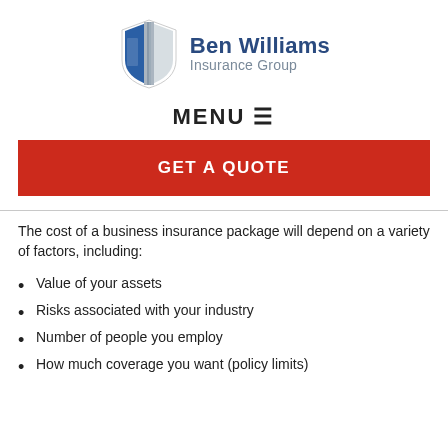[Figure (logo): Ben Williams Insurance Group logo with shield icon and company name]
MENU ≡
GET A QUOTE
The cost of a business insurance package will depend on a variety of factors, including:
Value of your assets
Risks associated with your industry
Number of people you employ
How much coverage you want (policy limits)